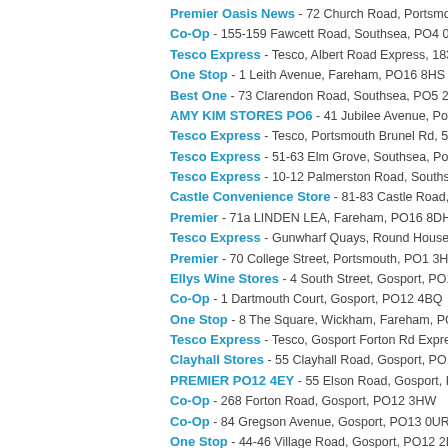Premier Oasis News - 72 Church Road, Portsmouth, PO1 1QE
Co-Op - 155-159 Fawcett Road, Southsea, PO4 0DH
Tesco Express - Tesco, Albert Road Express, 183-191 Albert Road, Southsea,
One Stop - 1 Leith Avenue, Fareham, PO16 8HS
Best One - 73 Clarendon Road, Southsea, PO5 2PA
AMY KIM STORES PO6 - 41 Jubilee Avenue, Portsmouth, PO6 4QN
Tesco Express - Tesco, Portsmouth Brunel Rd, 5 Isambard, Brunel Road, Ports
Tesco Express - 51-63 Elm Grove, Southsea, Portsmouth, PO5 1JF
Tesco Express - 10-12 Palmerston Road, Southsea, Portsmouth, PO5 3QH
Castle Convenience Store - 81-83 Castle Road, Southsea, PO5 3AY
Premier - 71a LINDEN LEA, Fareham, PO16 8DH
Tesco Express - Gunwharf Quays, Round House, Ground Floor, Portsmouth, P
Premier - 70 College Street, Portsmouth, PO1 3HA
Ellys Wine Stores - 4 South Street, Gosport, PO12 1ES
Co-Op - 1 Dartmouth Court, Gosport, PO12 4BQ
One Stop - 8 The Square, Wickham, Fareham, PO17 5JQ
Tesco Express - Tesco, Gosport Forton Rd Express, Forton Road, Gosport, PO
Clayhall Stores - 55 Clayhall Road, Gosport, PO12 2AH
PREMIER PO12 4EY - 55 Elson Road, Gosport, PO12 4EY
Co-Op - 268 Forton Road, Gosport, PO12 3HW
Co-Op - 84 Gregson Avenue, Gosport, PO13 0UR
One Stop - 44-46 Village Road, Gosport, PO12 2LF
One Stop - 141-143 Gosport Road, Fareham, PO16 0PZ
Tesco Express - 1 Carless Close, Rowner, Gosport, PO13 9XJ
Family Shopper Po13 - Nobes Avenue, Rowner, PO13 0HY
VILLAGE EXPRESS PO17 5FL - 1 South Square, Knowle, Fareham, PO17
Costcutter - 99 Miles Drive, Fareham, PO16 7LN